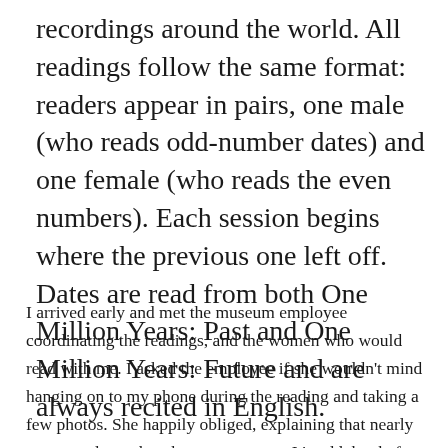recordings around the world. All readings follow the same format: readers appear in pairs, one male (who reads odd-number dates) and one female (who reads the even numbers). Each session begins where the previous one left off. Dates are read from both One Million Years: Past and One Million Years: Future and are always recited in English.
I arrived early and met the museum employee coordinating the readings, and the women who would read with me. I asked the employee if she wouldn't mind hanging on to my phone during the reading and taking a few photos. She happily obliged, explaining that nearly every reader makes the same request. It's odd, but before reporting to the museum I had